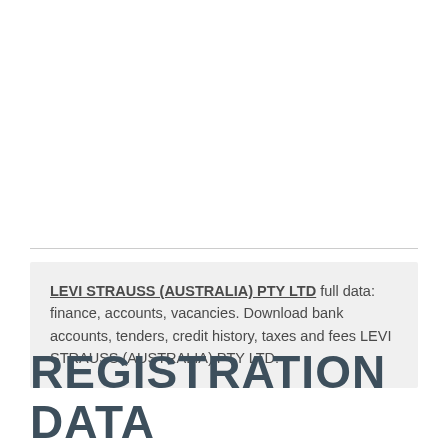LEVI STRAUSS (AUSTRALIA) PTY LTD full data: finance, accounts, vacancies. Download bank accounts, tenders, credit history, taxes and fees LEVI STRAUSS (AUSTRALIA) PTY LTD.
REGISTRATION DATA